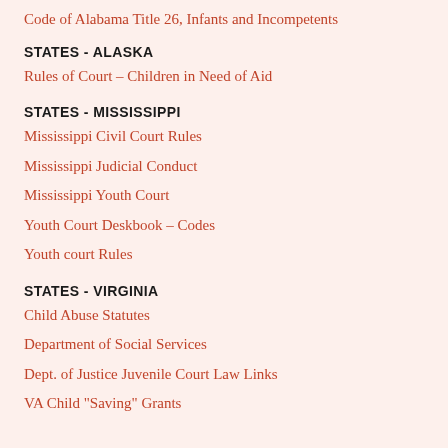Code of Alabama Title 26, Infants and Incompetents
STATES - ALASKA
Rules of Court – Children in Need of Aid
STATES - MISSISSIPPI
Mississippi Civil Court Rules
Mississippi Judicial Conduct
Mississippi Youth Court
Youth Court Deskbook – Codes
Youth court Rules
STATES - VIRGINIA
Child Abuse Statutes
Department of Social Services
Dept. of Justice Juvenile Court Law Links
VA Child "Saving" Grants